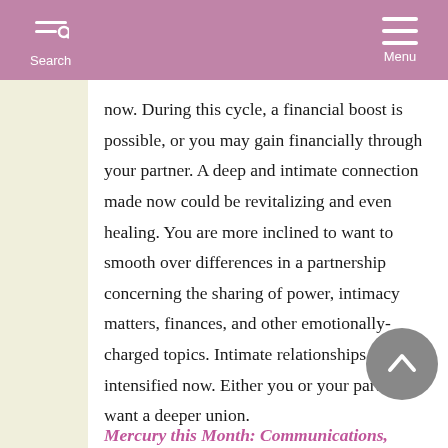Search  Menu
now. During this cycle, a financial boost is possible, or you may gain financially through your partner. A deep and intimate connection made now could be revitalizing and even healing. You are more inclined to want to smooth over differences in a partnership concerning the sharing of power, intimacy matters, finances, and other emotionally-charged topics. Intimate relationships are intensified now. Either you or your partner want a deeper union.
Mercury this Month: Communications,